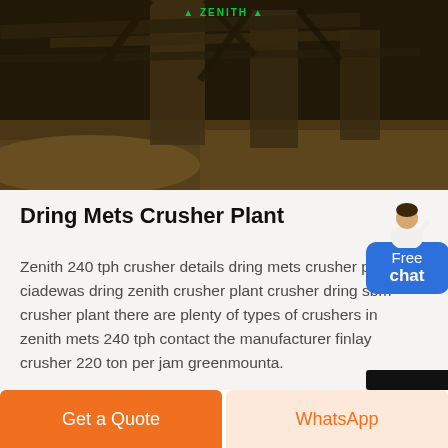[Figure (photo): Industrial crusher plant with structural beams and pillars, sandy/dusty environment]
Dring Mets Crusher Plant
Zenith 240 tph crusher details dring mets crusher plant ciadewas dring zenith crusher plant crusher dring sbm crusher plant there are plenty of types of crushers in zenith mets 240 tph contact the manufacturer finlay crusher 220 ton per jam greenmounta.
[Figure (other): Free chat widget with avatar and blue button]
Get a Quote | WhatsApp